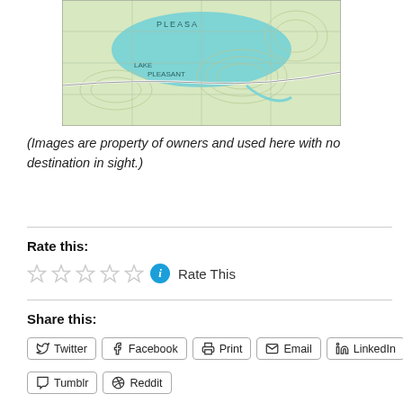[Figure (map): Topographic map showing a lake area labeled 'LAKE PLEASANT' with contour lines, roads, and terrain features in green and teal/cyan colors.]
(Images are property of owners and used here with no destination in sight.)
Rate this:
Rate This
Share this:
Twitter  Facebook  Print  Email  LinkedIn  Tumblr  Reddit